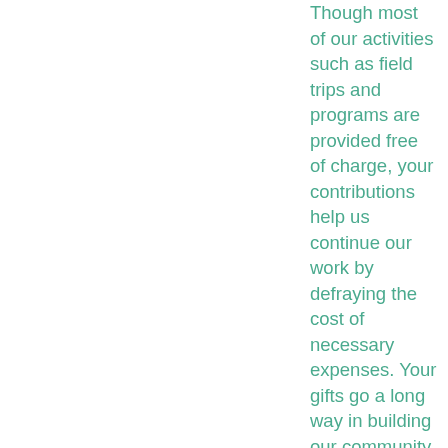Though most of our activities such as field trips and programs are provided free of charge, your contributions help us continue our work by defraying the cost of necessary expenses. Your gifts go a long way in building our community, providing education and opportunities